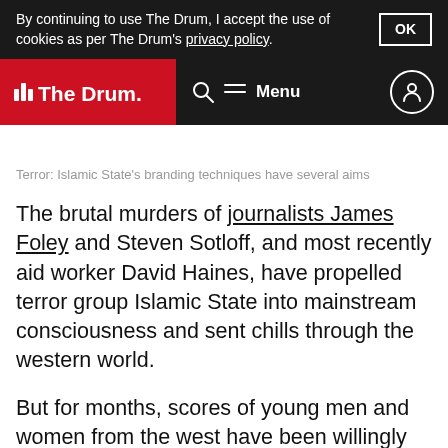By continuing to use The Drum, I accept the use of cookies as per The Drum's privacy policy. OK
[Figure (logo): The Drum website navigation bar with red logo area showing wave symbol and 'The Drum.' text, search icon, menu icon and label, and user account icon on black background]
Terror: Islamic State's branding techniques have several aims
The brutal murders of journalists James Foley and Steven Sotloff, and most recently aid worker David Haines, have propelled terror group Islamic State into mainstream consciousness and sent chills through the western world.
But for months, scores of young men and women from the west have been willingly travelling to Syria to join the self-declared caliphate's jihad, its holy war.